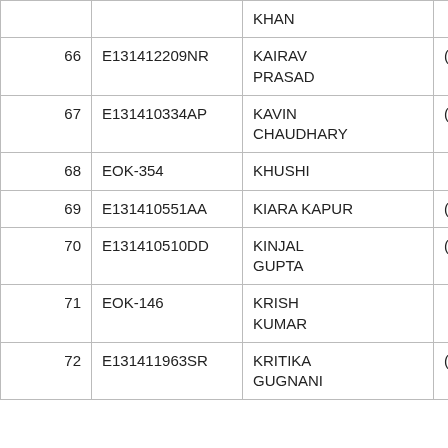| No. | ID | Name | Category |
| --- | --- | --- | --- |
|  |  | KHAN |  |
| 66 | E131412209NR | KAIRAV PRASAD | (G) |
| 67 | E131410334AP | KAVIN CHAUDHARY | (G) |
| 68 | EOK-354 | KHUSHI |  |
| 69 | E131410551AA | KIARA KAPUR | (G) |
| 70 | E131410510DD | KINJAL GUPTA | (G) |
| 71 | EOK-146 | KRISH KUMAR |  |
| 72 | E131411963SR | KRITIKA GUGNANI | (G) |